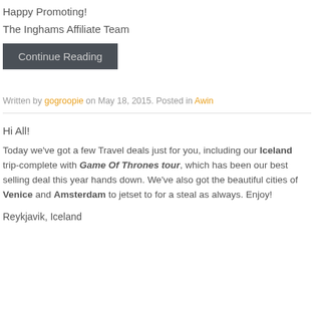Happy Promoting!
The Inghams Affiliate Team
Continue Reading
Written by gogroopie on May 18, 2015. Posted in Awin
Hi All!
Today we've got a few Travel deals just for you, including our Iceland trip-complete with Game Of Thrones tour, which has been our best selling deal this year hands down. We've also got the beautiful cities of Venice and Amsterdam to jetset to for a steal as always. Enjoy!
Reykjavik, Iceland